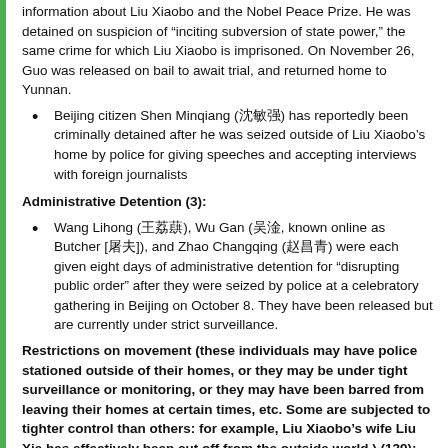information about Liu Xiaobo and the Nobel Peace Prize. He was detained on suspicion of “inciting subversion of state power,” the same crime for which Liu Xiaobo is imprisoned. On November 26, Guo was released on bail to await trial, and returned home to Yunnan.
Beijing citizen Shen Minqiang (沈敏强) has reportedly been criminally detained after he was seized outside of Liu Xiaobo’s home by police for giving speeches and accepting interviews with foreign journalists
Administrative Detention (3):
Wang Lihong (王荔红), Wu Gan (吴淦, known online as Butcher [屠夫]), and Zhao Changqing (赵昌青) were each given eight days of administrative detention for “disrupting public order” after they were seized by police at a celebratory gathering in Beijing on October 8. They have been released but are currently under strict surveillance.
Restrictions on movement (these individuals may have police stationed outside of their homes, or they may be under tight surveillance or monitoring, or they may have been barred from leaving their homes at certain times, etc. Some are subjected to tighter control than others: for example, Liu Xiaobo’s wife Liu Xia has effectively been cut off from the outside world.) (129):